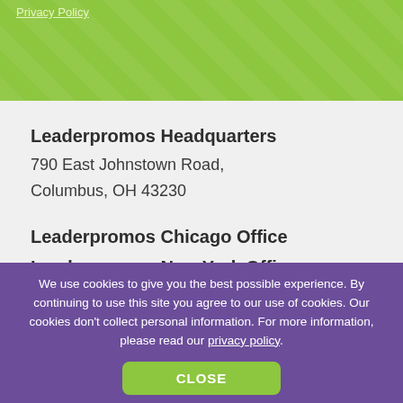Privacy Policy
Leaderpromos Headquarters
790 East Johnstown Road,
Columbus, OH 43230
Leaderpromos Chicago Office
Leaderpromos New York Office
Leaderpromos Toronto Office
[Figure (illustration): Social media icons: Facebook, LinkedIn, Twitter]
We use cookies to give you the best possible experience. By continuing to use this site you agree to our use of cookies. Our cookies don't collect personal information. For more information, please read our privacy policy.